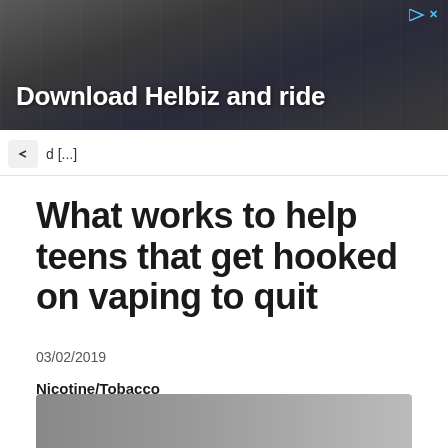[Figure (photo): Advertisement banner showing a person on a scooter/vehicle on a city street with text 'Download Helbiz and ride']
d [...]
What works to help teens that get hooked on vaping to quit
03/02/2019
Nicotine/Tobacco
[Figure (photo): Partial image at the bottom of the page, appears to be a photo related to the article]